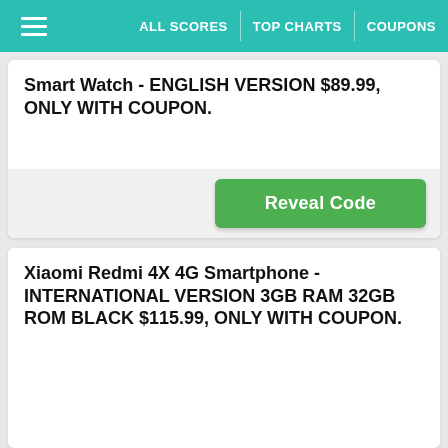ALL SCORES | TOP CHARTS | COUPONS
Smart Watch - ENGLISH VERSION $89.99, ONLY WITH COUPON.
Reveal Code
Xiaomi Redmi 4X 4G Smartphone - INTERNATIONAL VERSION 3GB RAM 32GB ROM BLACK $115.99, ONLY WITH COUPON.
Reveal Code